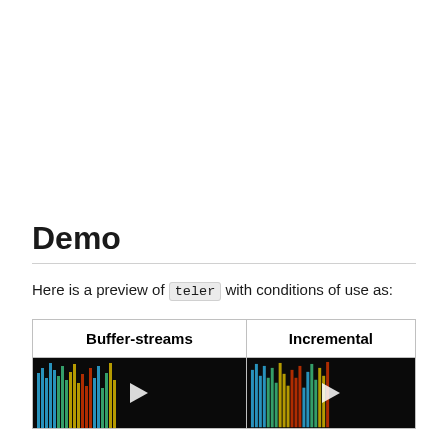Demo
Here is a preview of teler with conditions of use as:
| Buffer-streams | Incremental |
| --- | --- |
| [video thumbnail] | [video thumbnail] |